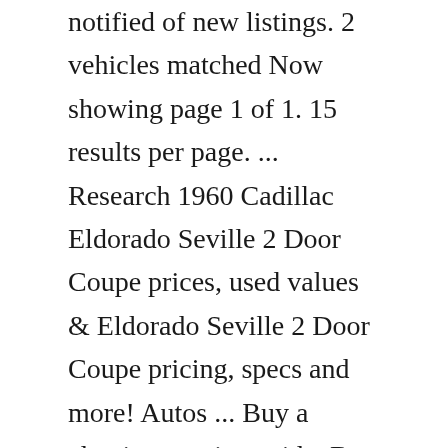notified of new listings. 2 vehicles matched Now showing page 1 of 1. 15 results per page. ... Research 1960 Cadillac Eldorado Seville 2 Door Coupe prices, used values & Eldorado Seville 2 Door Coupe pricing, specs and more! Autos ... Buy a classic car price guide. Buy Now Value Definitions. Original MSRP Manufacturer Suggested Retail Price. Low Retail Value1960 Cadillac Eldorado Biarritz convertible for sale! Motorcar Classics is proud to present this